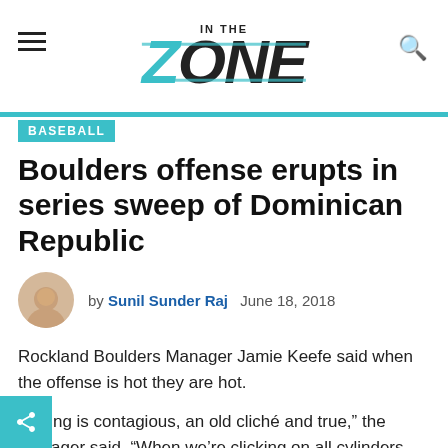In The Zone
BASEBALL
Boulders offense erupts in series sweep of Dominican Republic
by Sunil Sunder Raj  June 18, 2018
Rockland Boulders Manager Jamie Keefe said when the offense is hot they are hot.
“Hitting is contagious, an old cliché and true,” the manager said. “When we’re clicking on all cylinders, we’re going to be tough to beat and I like the way is clicking.”